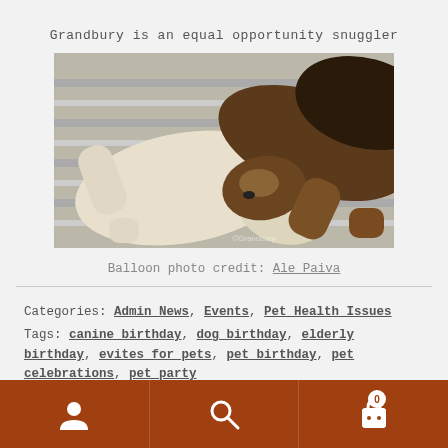Grandbury is an equal opportunity snuggler
[Figure (photo): Two dogs lying together on a striped bed — a light-colored dog on the left and a dark brown/black dog on the right, snuggling close together.]
Balloon photo credit: Ale Paiva
Categories: Admin News, Events, Pet Health Issues
Tags: canine birthday, dog birthday, elderly birthday, evites for pets, pet birthday, pet celebrations, pet party